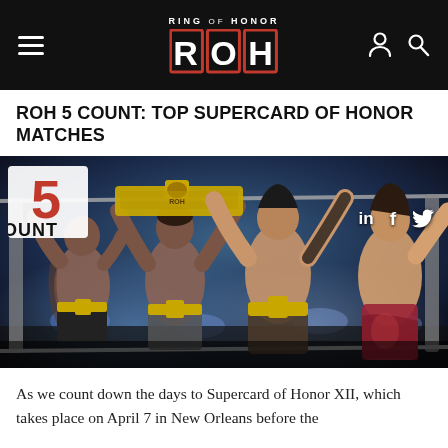RING OF HONOR ROH
ROH 5 COUNT: TOP SUPERCARD OF HONOR MATCHES
[Figure (photo): Professional wrestlers celebrating in a ring, holding championship belts aloft, with blue stage lighting in background. A '5 Count' logo appears in the upper left corner and social media icons (in, f, bird/Twitter) appear in the upper right.]
As we count down the days to Supercard of Honor XII, which takes place on April 7 in New Orleans before the